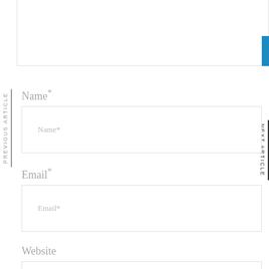[Figure (screenshot): Top partial content box with blue accent bar on right edge]
PREVIOUS ARTICLE
NEXT ARTICLE
Name*
Name*
Email*
Email*
Website
Website